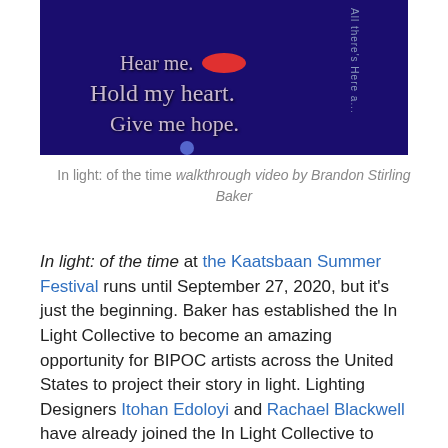[Figure (photo): Dark blue theatrical photo with text projections reading 'Hear me.' with a red oval, 'Hold my heart.' and 'Give me hope.' on draped fabric background, with faint script text on the right side.]
In light: of the time walkthrough video by Brandon Stirling Baker
In light: of the time at the Kaatsbaan Summer Festival runs until September 27, 2020, but it's just the beginning. Baker has established the In Light Collective to become an amazing opportunity for BIPOC artists across the United States to project their story in light. Lighting Designers Itohan Edoloyi and Rachael Blackwell have already joined the In Light Collective to create new installations in Harlem, Brooklyn, Virginia, Maryland and Washington, D.C. Be sure to visit inlightcollective.us for information on upcoming installations.